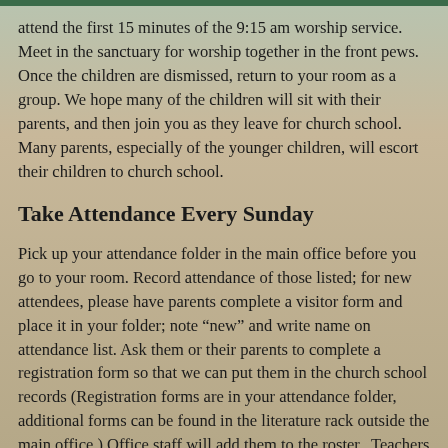attend the first 15 minutes of the 9:15 am worship service. Meet in the sanctuary for worship together in the front pews. Once the children are dismissed, return to your room as a group. We hope many of the children will sit with their parents, and then join you as they leave for church school. Many parents, especially of the younger children, will escort their children to church school.
Take Attendance Every Sunday
Pick up your attendance folder in the main office before you go to your room. Record attendance of those listed; for new attendees, please have parents complete a visitor form and place it in your folder; note “new” and write name on attendance list. Ask them or their parents to complete a registration form so that we can put them in the church school records (Registration forms are in your attendance folder, additional forms can be found in the literature rack outside the main office.) Office staff will add them to the roster. Teachers and Substitutes, please mark yourself in